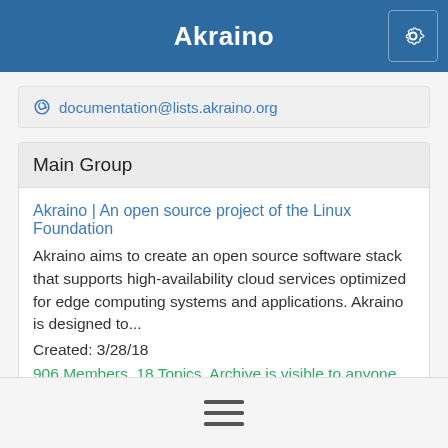Akraino
documentation@lists.akraino.org
Main Group
Akraino | An open source project of the Linux Foundation
Akraino aims to create an open source software stack that supports high-availability cloud services optimized for edge computing systems and applications. Akraino is designed to...
Created: 3/28/18
906 Members, 18 Topics, Archive is visible to anyone, Last Post: Aug 29
Subgroups You Can Join
[Figure (other): Hamburger menu icon with three horizontal lines]